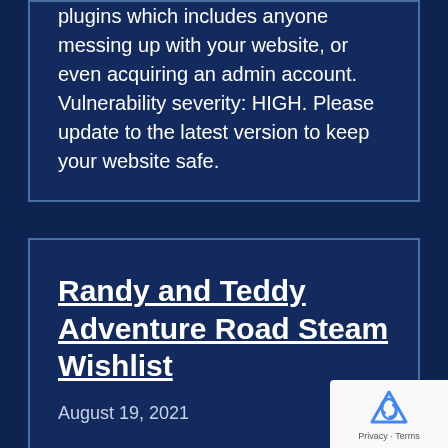plugins which includes anyone messing up with your website, or even acquiring an admin account. Vulnerability severity: HIGH. Please update to the latest version to keep your website safe.
Randy and Teddy Adventure Road Steam Wishlist
August 19, 2021
Game page is live on Steam. Add it to your